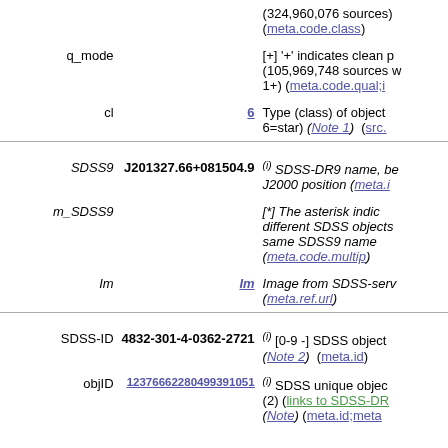|  |  | (324,960,076 sources) (meta.code.class) |
| q_mode |  | [+] '+' indicates clean p (105,969,748 sources w 1+) (meta.code.qual;i |
| cl | 6 | Type (class) of object 6=star) (Note 1) (src. |
| SDSS9 | J201327.66+081504.9 | (i) SDSS-DR9 name, be J2000 position (meta.i |
| m_SDSS9 |  | [*] The asterisk indic different SDSS objects same SDSS9 name (meta.code.multip) |
| Im | Im | Image from SDSS-serv (meta.ref.url) |
| SDSS-ID | 4832-301-4-0362-2721 | (i) [0-9 -] SDSS object (Note 2) (meta.id) |
| objID | 12376662280499391051 | (i) SDSS unique objec (2) (links to SDSS-DR (Note) (meta.id;meta |